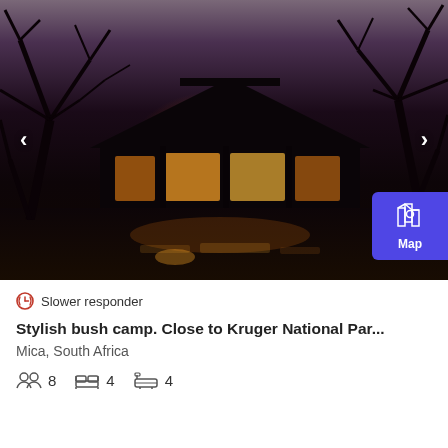[Figure (photo): Night/dusk photo of a stylish bush camp lodge with thatched roof, warmly lit interior glowing through large windows, dark silhouette trees framing the scene, reflection of light in water below]
Slower responder
Stylish bush camp. Close to Kruger National Par...
Mica, South Africa
8   4   4